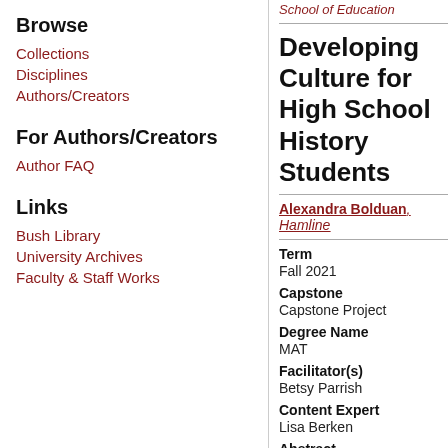Browse
Collections
Disciplines
Authors/Creators
For Authors/Creators
Author FAQ
Links
Bush Library
University Archives
Faculty & Staff Works
School of Education
Developing Cultu... for High School H... Students
Alexandra Bolduan, Hamline...
Term
Fall 2021
Capstone
Capstone Project
Degree Name
MAT
Facilitator(s)
Betsy Parrish
Content Expert
Lisa Berken
Abstract
Research consistently finds tha... themselves reflected in the cla... incorporate the unique perspe...